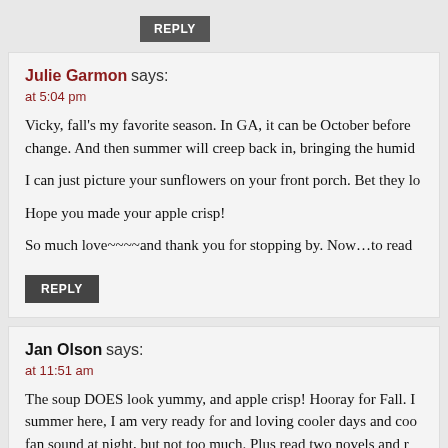REPLY
Julie Garmon says:
at 5:04 pm
Vicky, fall’s my favorite season. In GA, it can be October before change. And then summer will creep back in, bringing the humid
I can just picture your sunflowers on your front porch. Bet they lo
Hope you made your apple crisp!
So much love~~~~and thank you for stopping by. Now…to read
REPLY
Jan Olson says:
at 11:51 am
The soup DOES look yummy, and apple crisp! Hooray for Fall. I summer here, I am very ready for and loving cooler days and coo fan sound at night, but not too much. Plus read two novels and r